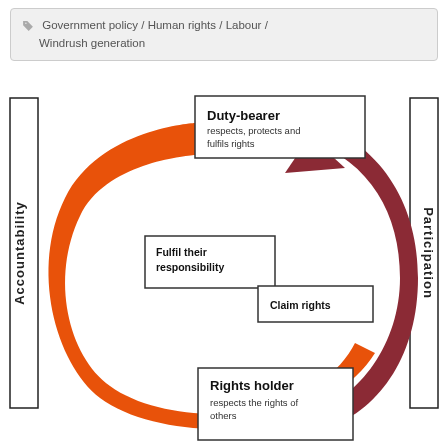Government policy / Human rights / Labour / Windrush generation
[Figure (flowchart): Circular rights-responsibility diagram showing Duty-bearer (respects, protects and fulfils rights) connected by orange arrow to Rights holder (respects the rights of others) with label 'Fulfil their responsibility', and dark red arrow from Rights holder back up to Duty-bearer with label 'Claim rights'. Vertical side labels: 'Accountability' on left, 'Participation' on right.]